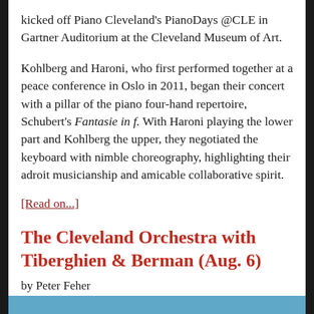kicked off Piano Cleveland's PianoDays @CLE in Gartner Auditorium at the Cleveland Museum of Art.
Kohlberg and Haroni, who first performed together at a peace conference in Oslo in 2011, began their concert with a pillar of the piano four-hand repertoire, Schubert's Fantasie in f. With Haroni playing the lower part and Kohlberg the upper, they negotiated the keyboard with nimble choreography, highlighting their adroit musicianship and amicable collaborative spirit.
[Read on...]
The Cleveland Orchestra with Tiberghien & Berman (Aug. 6)
by Peter Feher
[Figure (photo): Partial view of an image strip at the bottom of the page, appearing to be a photo related to the Cleveland Orchestra article.]